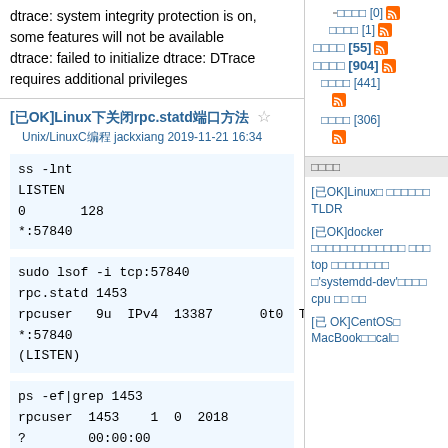dtrace: system integrity protection is on, some features will not be available
dtrace: failed to initialize dtrace: DTrace requires additional privileges
[已OK]Linux下关闭rpc.statd端口方法
Unix/LinuxC编程 jackxiang 2019-11-21 16:34
ss -lnt
LISTEN
0       128
*:57840                                 *:*
sudo lsof -i tcp:57840
rpc.statd 1453
rpcuser   9u  IPv4  13387     0t0  TCP *:57840 (LISTEN)
ps -ef|grep 1453
rpcuser  1453    1  0  2018 ?        00:00:00
rpc.statd